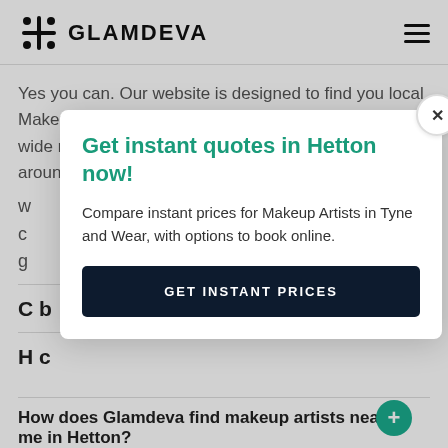GLAMDEVA
Yes you can. Our website is designed to find you local Makeup Artists near you. In fact you can compare a wide range of prices and pro's in nearby postcodes around. S
w
c
g
C b
H c
How does Glamdeva find makeup artists near me in Hetton?
[Figure (screenshot): Modal popup with title 'Get instant quotes in Hetton now!' and body text 'Compare instant prices for Makeup Artists in Tyne and Wear, with options to book online.' and a dark button reading 'GET INSTANT PRICES'. A close (X) button is in the top-right corner of the modal.]